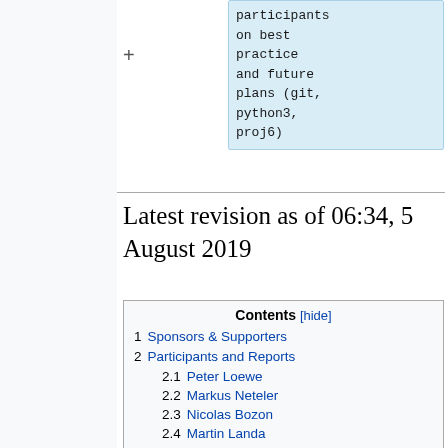participants on best practice and future plans (git, python3, proj6)
Latest revision as of 06:34, 5 August 2019
Contents [hide]
1  Sponsors & Supporters
2  Participants and Reports
2.1  Peter Loewe
2.2  Markus Neteler
2.3  Nicolas Bozon
2.4  Martin Landa
2.5  Ondřej Pešek
2.6  Anna Petrasova and Vaclav